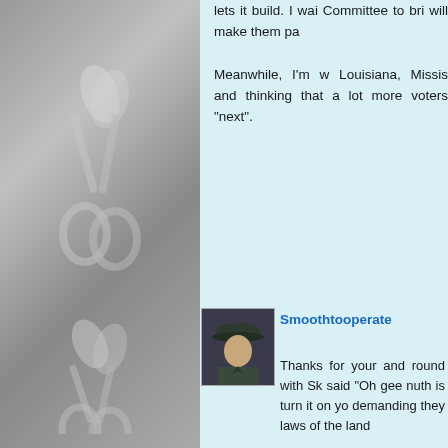lets it build. I wai Committee to bri will make them pa Meanwhile, I'm w Louisiana, Missis and thinking that a lot more voters "next".
[Figure (photo): A person in military dress uniform with a peaked cap, small profile photo used as avatar]
Smoothtooperate
Thanks for your and round with Sk said "Oh gee nuth is turn it on yo demanding they laws of the land